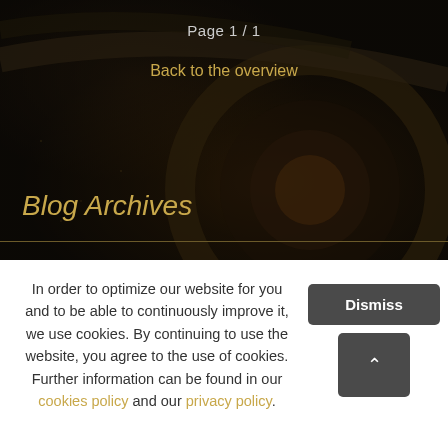Page 1 / 1
Back to the overview
Blog Archives
In order to optimize our website for you and to be able to continuously improve it, we use cookies. By continuing to use the website, you agree to the use of cookies. Further information can be found in our cookies policy and our privacy policy.
Dismiss